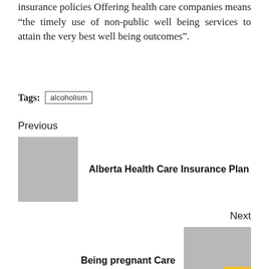insurance policies Offering health care companies means “the timely use of non-public well being services to attain the very best well being outcomes”.
Tags: alcoholism
Previous
[Figure (photo): Gray placeholder thumbnail for Alberta Health Care Insurance Plan]
Alberta Health Care Insurance Plan
Next
Being pregnant Care
[Figure (photo): Gray placeholder thumbnail for Being pregnant Care with yellow scroll-to-top button]